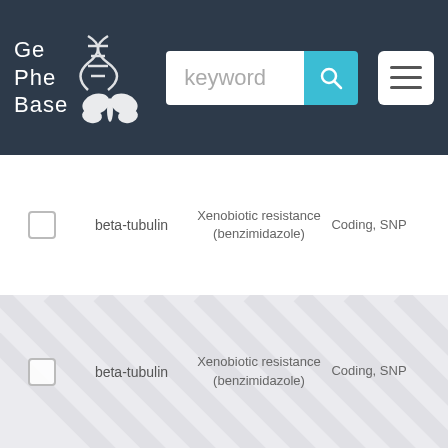[Figure (screenshot): GePheBase website header with logo, search bar with 'keyword' placeholder, search button, and menu button]
| ☐ | beta-tubulin | Xenobiotic resistance (benzimidazole) | Coding, SNP |
| ☐ | beta-tubulin | Xenobiotic resistance (benzimidazole) | Coding, SNP |